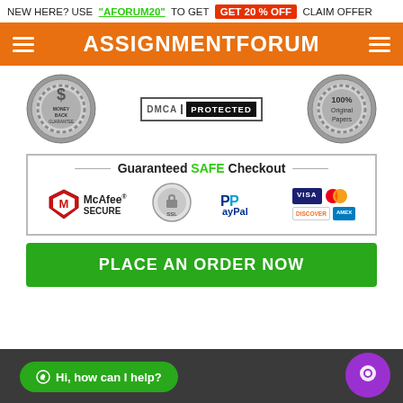NEW HERE? USE "AFORUM20" TO GET GET 20 % OFF CLAIM OFFER
ASSIGNMENTFORUM
[Figure (logo): Money Back Guarantee badge (circular silver stamp)]
[Figure (logo): DMCA PROTECTED badge]
[Figure (logo): 100% Original Papers badge (circular silver stamp)]
[Figure (infographic): Guaranteed SAFE Checkout box with McAfee SECURE, SSL, PayPal, Visa, Mastercard, Discover, Amex logos]
PLACE AN ORDER NOW
Hi, how can I help?